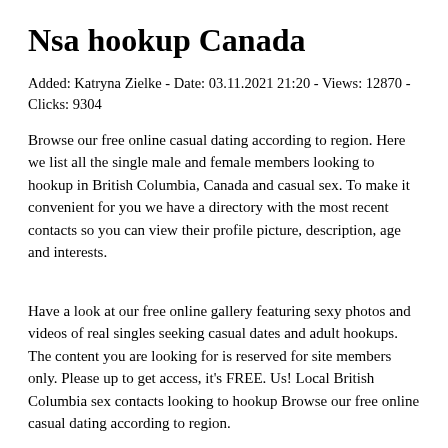Nsa hookup Canada
Added: Katryna Zielke - Date: 03.11.2021 21:20 - Views: 12870 - Clicks: 9304
Browse our free online casual dating according to region. Here we list all the single male and female members looking to hookup in British Columbia, Canada and casual sex. To make it convenient for you we have a directory with the most recent contacts so you can view their profile picture, description, age and interests.
Have a look at our free online gallery featuring sexy photos and videos of real singles seeking casual dates and adult hookups. The content you are looking for is reserved for site members only. Please up to get access, it's FREE. Us! Local British Columbia sex contacts looking to hookup Browse our free online casual dating according to region.
Asking 100 Men For HOOKUPS On Tinder! *Social Experiment*